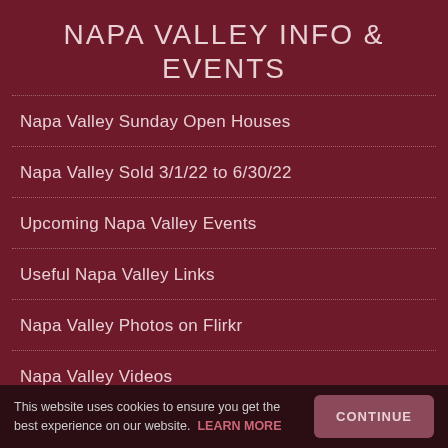NAPA VALLEY INFO & EVENTS
Napa Valley Sunday Open Houses
Napa Valley Sold 3/1/22 to 6/30/22
Upcoming Napa Valley Events
Useful Napa Valley Links
Napa Valley Photos on Flirkr
Napa Valley Videos
Yountville Sun Front Pages
This website uses cookies to ensure you get the best experience on our website. LEARN MORE  CONTINUE